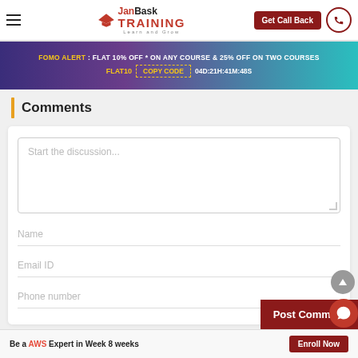JanBask TRAINING Learn and Grow | Get Call Back
FOMO ALERT : FLAT 10% OFF * ON ANY COURSE & 25% OFF ON TWO COURSES FLAT10 COPY CODE 04D:21H:41M:48S
Comments
[Figure (screenshot): Comment form with fields: Start the discussion (textarea), Name, Email ID, Phone number, and Post Comment button]
Be a AWS Expert in Week 8 weeks  Enroll Now